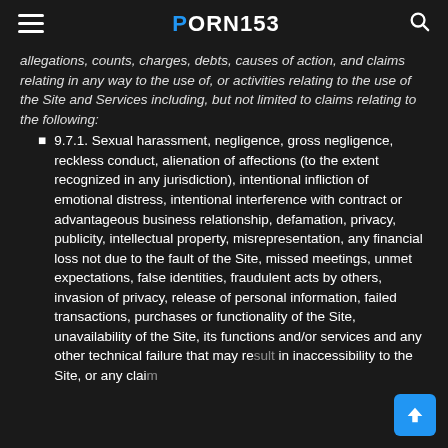PORN153
allegations, counts, charges, debts, causes of action, and claims relating in any way to the use of, or activities relating to the use of the Site and Services including, but not limited to claims relating to the following:
9.7.1. Sexual harassment, negligence, gross negligence, reckless conduct, alienation of affections (to the extent recognized in any jurisdiction), intentional infliction of emotional distress, intentional interference with contract or advantageous business relationship, defamation, privacy, publicity, intellectual property, misrepresentation, any financial loss not due to the fault of the Site, missed meetings, unmet expectations, false identities, fraudulent acts by others, invasion of privacy, release of personal information, failed transactions, purchases or functionality of the Site, unavailability of the Site, its functions and/or services and any other technical failure that may result in inaccessibility to the Site, or any claim